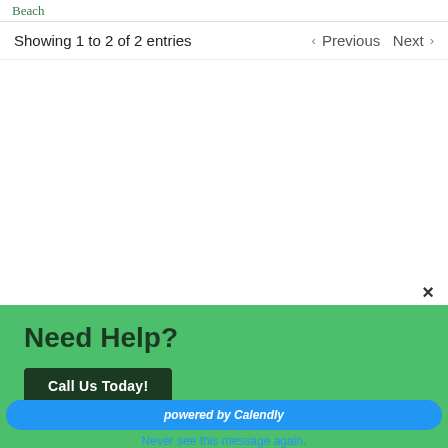Beach
Showing 1 to 2 of 2 entries
< Previous   Next >
×
Need Help?
Call Us Today!
powered by Calendly
Never see this message again.